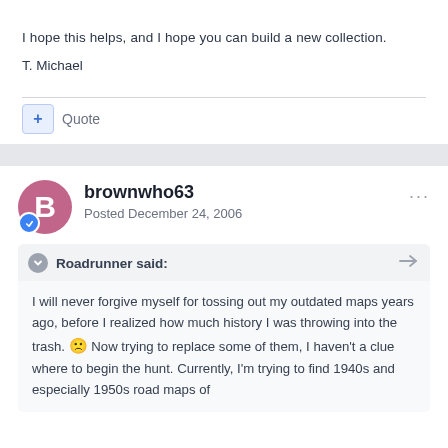I hope this helps, and I hope you can build a new collection.
T. Michael
brownwho63
Posted December 24, 2006
Roadrunner said:
I will never forgive myself for tossing out my outdated maps years ago, before I realized how much history I was throwing into the trash. 🙁 Now trying to replace some of them, I haven't a clue where to begin the hunt. Currently, I'm trying to find 1940s and especially 1950s road maps of